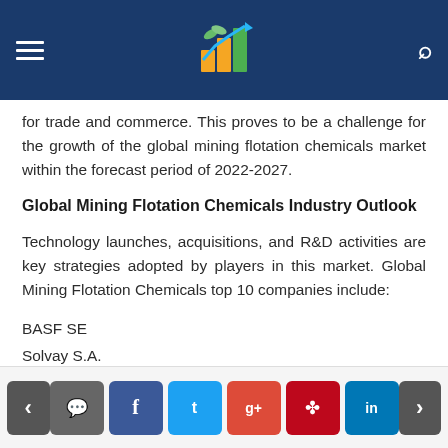[Navigation header with logo]
for trade and commerce. This proves to be a challenge for the growth of the global mining flotation chemicals market within the forecast period of 2022-2027.
Global Mining Flotation Chemicals Industry Outlook
Technology launches, acquisitions, and R&D activities are key strategies adopted by players in this market. Global Mining Flotation Chemicals top 10 companies include:
BASF SE
Solvay S.A.
AkzoNobel N.V.
Navigation: prev | comment | facebook | twitter | google+ | pinterest | linkedin | next